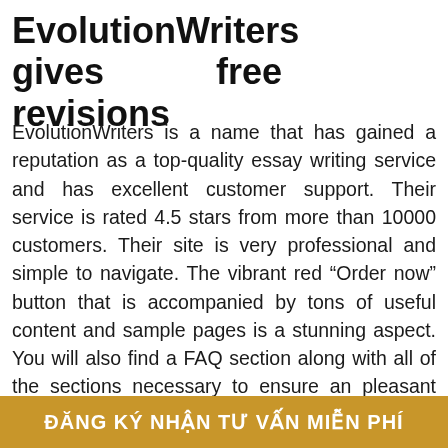EvolutionWriters gives free revisions
EvolutionWriters is a name that has gained a reputation as a top-quality essay writing service and has excellent customer support. Their service is rated 4.5 stars from more than 10000 customers. Their site is very professional and simple to navigate. The vibrant red “Order now” button that is accompanied by tons of useful content and sample pages is a stunning aspect. You will also find a FAQ section along with all of the sections necessary to ensure an pleasant experience.
The EvolutionWriters team includes writers with expertise in all areas of research. The customers give them 4.5 stars and th... of...
ĐĂNG KÝ NHẬN TƯ VẤN MIỄN PHÍ